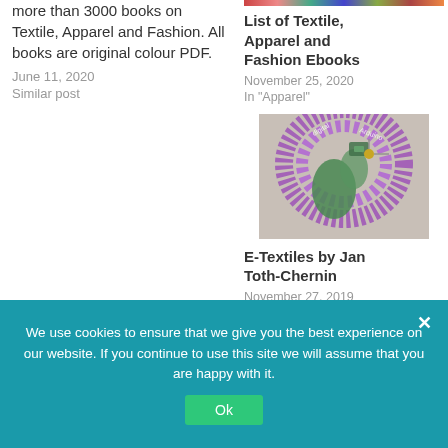more than 3000 books on Textile, Apparel and Fashion. All books are original colour PDF.
June 11, 2020
Similar post
[Figure (photo): Partial colorful image strip at top of right column]
List of Textile, Apparel and Fashion Ebooks
November 25, 2020
In "Apparel"
[Figure (photo): Photo of e-textiles: colorful textile with embedded electronics, purple fringe and green decorative elements]
E-Textiles by Jan Toth-Chernin
November 27, 2019
In "Technical Textile"
[Figure (photo): Partial view of a yellow/orange book cover at bottom left]
[Figure (photo): Partial view of a book cover with MACHINE text at bottom right]
We use cookies to ensure that we give you the best experience on our website. If you continue to use this site we will assume that you are happy with it.